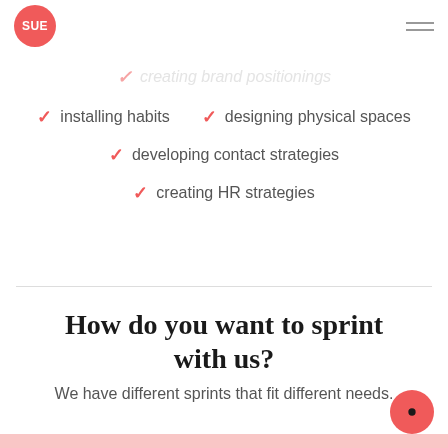SUE
creating brand positionings
installing habits
designing physical spaces
developing contact strategies
creating HR strategies
How do you want to sprint with us?
We have different sprints that fit different needs.